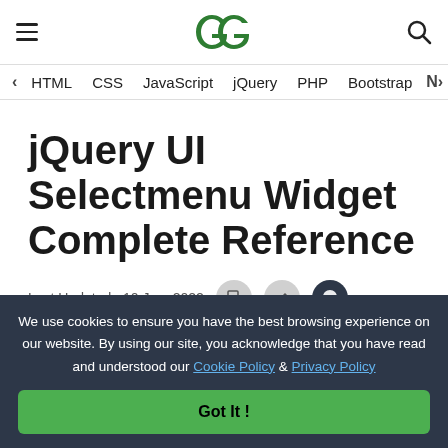GeeksforGeeks navigation header with hamburger menu, GFG logo, and search icon
< HTML  CSS  JavaScript  jQuery  PHP  Bootstrap  N>
jQuery UI Selectmenu Widget Complete Reference
Last Updated : 10 Jun, 2022
We use cookies to ensure you have the best browsing experience on our website. By using our site, you acknowledge that you have read and understood our Cookie Policy & Privacy Policy
Got It !